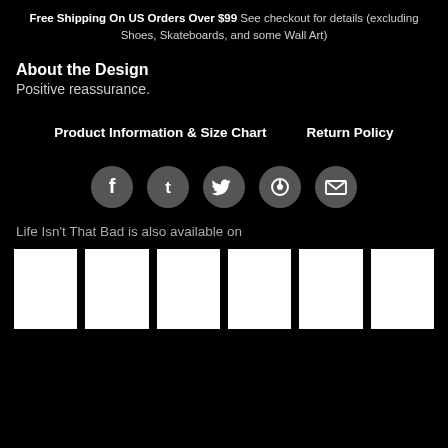Free Shipping On US Orders Over $99 See checkout for details (excluding Shoes, Skateboards, and some Wall Art)
About the Design
Positive reassurance.
Product Information & Size Chart
Return Policy
[Figure (infographic): Row of 5 social media share icons: Facebook, Tumblr, Twitter, Pinterest, Email — white icons on dark grey circles]
Life Isn't That Bad is also available on
[Figure (infographic): Row of 6 white product thumbnail image placeholders]